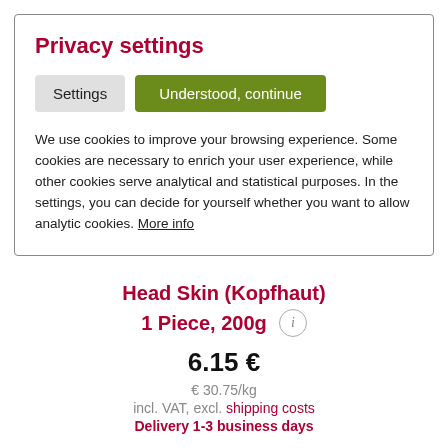Privacy settings
[Figure (screenshot): Settings button (gray) and Understood, continue button (olive green)]
We use cookies to improve your browsing experience. Some cookies are necessary to enrich your user experience, while other cookies serve analytical and statistical purposes. In the settings, you can decide for yourself whether you want to allow analytic cookies. More info
Head Skin (Kopfhaut)
1 Piece, 200g
6.15 €
€ 30.75/kg
incl. VAT, excl. shipping costs
Delivery 1-3 business days